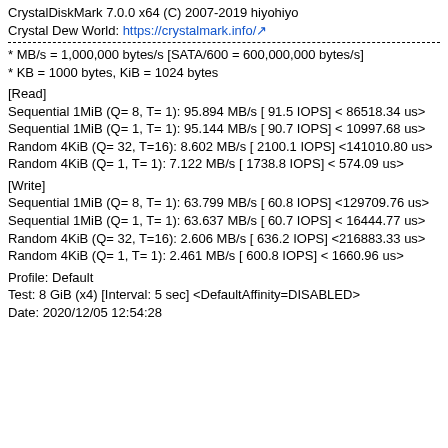CrystalDiskMark 7.0.0 x64 (C) 2007-2019 hiyohiyo
Crystal Dew World: https://crystalmark.info/
* MB/s = 1,000,000 bytes/s [SATA/600 = 600,000,000 bytes/s]
* KB = 1000 bytes, KiB = 1024 bytes
[Read]
Sequential 1MiB (Q= 8, T= 1): 95.894 MB/s [ 91.5 IOPS] < 86518.34 us>
Sequential 1MiB (Q= 1, T= 1): 95.144 MB/s [ 90.7 IOPS] < 10997.68 us>
Random 4KiB (Q= 32, T=16): 8.602 MB/s [ 2100.1 IOPS] <141010.80 us>
Random 4KiB (Q= 1, T= 1): 7.122 MB/s [ 1738.8 IOPS] < 574.09 us>
[Write]
Sequential 1MiB (Q= 8, T= 1): 63.799 MB/s [ 60.8 IOPS] <129709.76 us>
Sequential 1MiB (Q= 1, T= 1): 63.637 MB/s [ 60.7 IOPS] < 16444.77 us>
Random 4KiB (Q= 32, T=16): 2.606 MB/s [ 636.2 IOPS] <216883.33 us>
Random 4KiB (Q= 1, T= 1): 2.461 MB/s [ 600.8 IOPS] < 1660.96 us>
Profile: Default
Test: 8 GiB (x4) [Interval: 5 sec] <DefaultAffinity=DISABLED>
Date: 2020/12/05 12:54:28